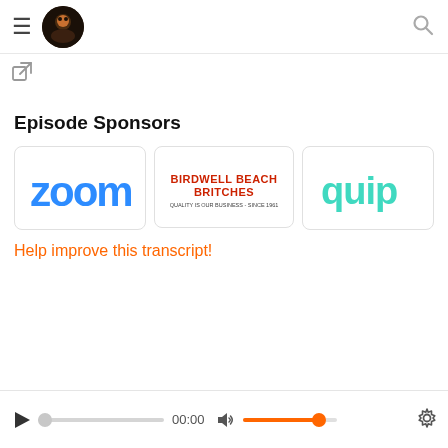Joe Rogan Experience — hamburger menu, podcast logo, search icon
[Figure (other): External link icon (square with arrow)]
Episode Sponsors
[Figure (logo): Zoom logo — bold blue lowercase 'zoom' text]
[Figure (logo): Birdwell Beach Britches logo — red bold text with tagline 'QUALITY IS OUR BUSINESS - SINCE 1961']
[Figure (logo): quip logo — teal/mint lowercase 'quip' text in rounded font]
Help improve this transcript!
Audio player bar: play button, progress slider at 00:00, volume control, settings gear icon